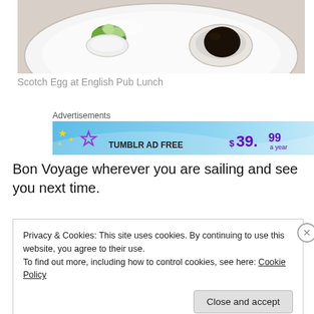[Figure (photo): A white plate with two items: a small green garnish on the left and a dark round food item (scotch egg) on the right, on a white background.]
Scotch Egg at English Pub Lunch
Advertisements
[Figure (screenshot): Advertisement banner showing '$39.99 a year' offer with stars and text 'TUMBLR AD FREE' on a blue gradient background.]
Bon Voyage wherever you are sailing and see you next time.
Privacy & Cookies: This site uses cookies. By continuing to use this website, you agree to their use.
To find out more, including how to control cookies, see here: Cookie Policy
Close and accept